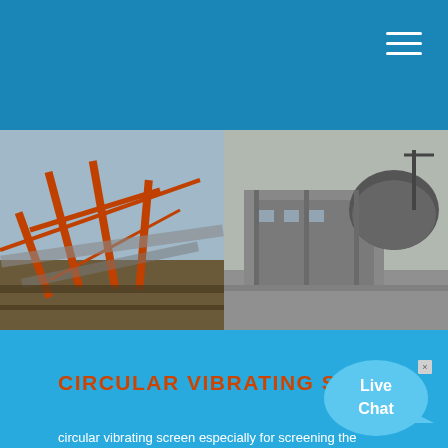[Figure (photo): Industrial quarry/mining facility photos: left shows conveyor belts and orange steel structure; right shows large industrial building with dome-shaped structure]
CIRCULAR VIBRATING SCREEN
circular vibrating screen especially for screening the materials in the quarry, which adopted the vibrating of the tube eccentric shaft to adjust the amplitude. And it features stable structure, strong vibrating force, high screening efficiency, low vibrating voice, ...